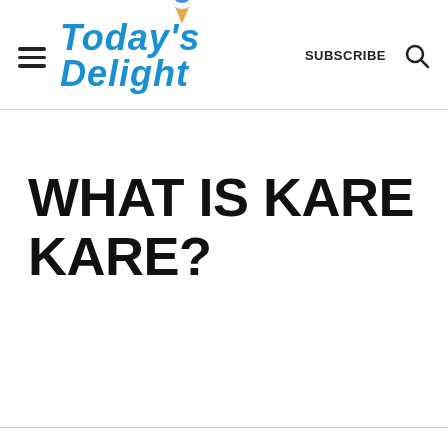TODAY'S DELIGHT — SUBSCRIBE
WHAT IS KARE KARE?